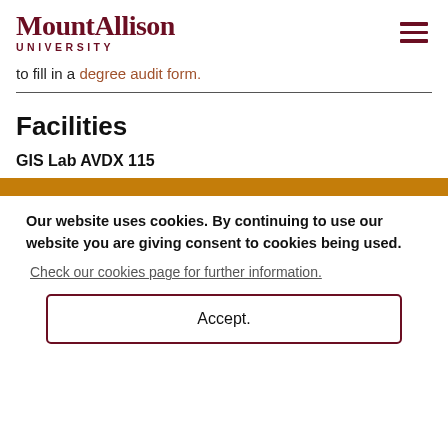MountAllison UNIVERSITY
to fill in a degree audit form.
Facilities
GIS Lab AVDX 115
Our website uses cookies. By continuing to use our website you are giving consent to cookies being used.
Check our cookies page for further information.
Accept.